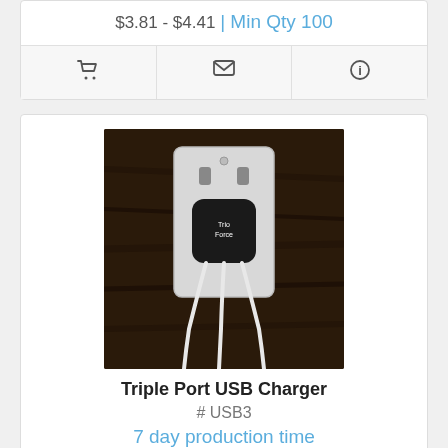$3.81 - $4.41 | Min Qty 100
[Figure (screenshot): Icon row with shopping cart, envelope, and info button icons]
[Figure (photo): Triple Port USB Charger plugged into a wall outlet with three white cables hanging down, against a dark wood background]
Triple Port USB Charger
# USB3
7 day production time
$10.00 - $11.50 | Min Qty 25